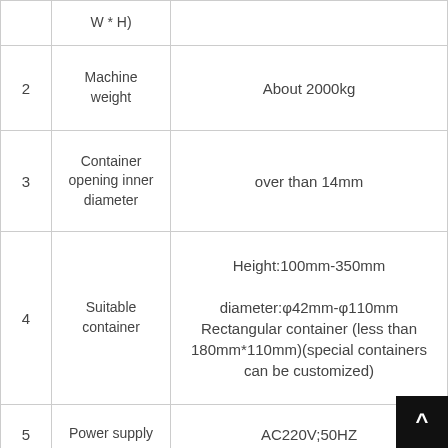| No. | Item | Specification |
| --- | --- | --- |
|  | W * H) |  |
| 2 | Machine weight | About 2000kg |
| 3 | Container opening inner diameter | over than 14mm |
| 4 | Suitable container | Height:100mm-350mm
diameter:φ42mm-φ110mm
Rectangular container (less than 180mm*110mm)(special containers can be customized) |
| 5 | Power supply | AC220V;50HZ |
| 6 | Power | 2.5Kw |